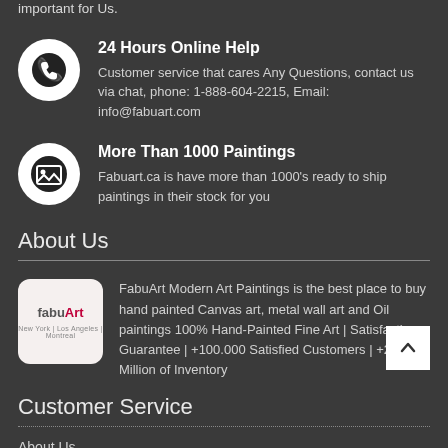important for Us.
24 Hours Online Help
Customer service that cares Any Questions, contact us via chat, phone: 1-888-604-2215, Email: info@fabuart.com
More Than 1000 Paintings
Fabuart.ca is have more than 1000's ready to ship paintings in their stock for you
About Us
[Figure (logo): FabuArt logo: text 'fabuArt' with red colored 'Art', subtitle 'New York | Los Angeles | Montreal']
FabuArt Modern Art Paintings is the best place to buy hand painted Canvas art, metal wall art and Oil paintings 100% Hand-Painted Fine Art | Satisfaction Guarantee | +100.000 Satisfied Customers | +2 Million of Inventory
Customer Service
About Us